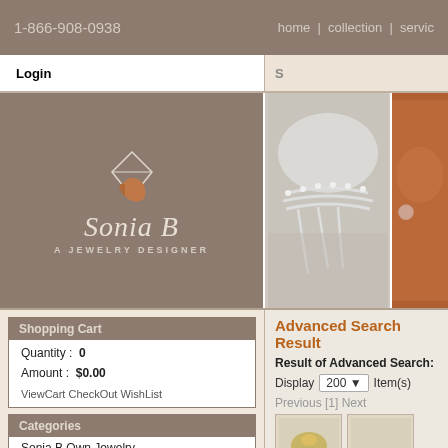1-866-908-0938   home  collection  servic
Login
S
[Figure (logo): Sonia B jewelry designer logo with diamond and hand graphic on taupe background, script text 'Sonia B' and 'A JEWELRY DESIGNER']
[Figure (photo): Photo of woman wearing pearl necklace with white fabric]
[Figure (photo): Photo of redhead woman wearing crystal earring]
Shopping Cart
Quantity : 0
Amount : $0.00
ViewCart CheckOut WishList
Categories
Sonia B Own Jewelry
Advanced Search Result
Result of Advanced Search:
Display 200 Item(s)
Previous [1] Next